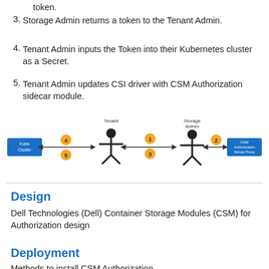token.
3. Storage Admin returns a token to the Tenant Admin.
4. Tenant Admin inputs the Token into their Kubernetes cluster as a Secret.
5. Tenant Admin updates CSI driver with CSM Authorization sidecar module.
[Figure (flowchart): Diagram showing interaction between Kube Cluster, Tenant (person icon), numbered steps 1-5 on arrows, Storage Admin (person icon), and CSM Authorization Server Proxy. Arrows connect the entities with numbered circles indicating step order.]
Design
Dell Technologies (Dell) Container Storage Modules (CSM) for Authorization design
Deployment
Methods to install CSM Authorization